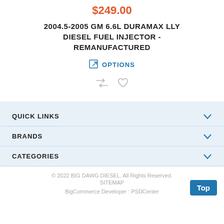$249.00
2004.5-2005 GM 6.6L DURAMAX LLY DIESEL FUEL INJECTOR - REMANUFACTURED
OPTIONS
[Figure (illustration): Compare and wishlist icons (shuffle arrows and heart outline)]
QUICK LINKS
BRANDS
CATEGORIES
© 2022 BIG DAWG DIESEL. All Rights Reserved. SITEMAP BigCommerce Developer : PSDCenter